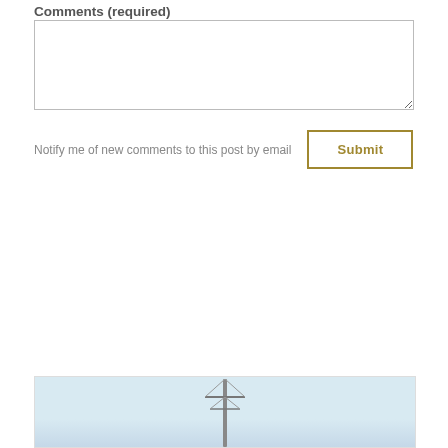Comments (required)
Notify me of new comments to this post by email
[Figure (photo): Partial view of a mast or antenna structure against a light blue sky, photographed from below looking up.]